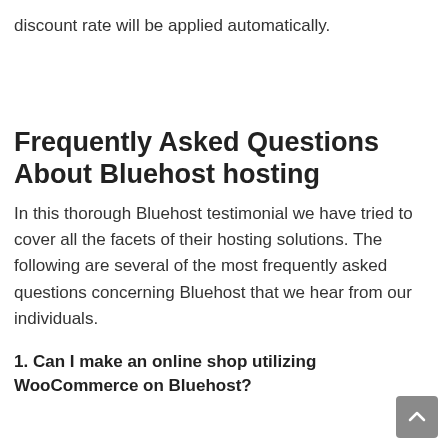discount rate will be applied automatically.
Frequently Asked Questions About Bluehost hosting
In this thorough Bluehost testimonial we have tried to cover all the facets of their hosting solutions. The following are several of the most frequently asked questions concerning Bluehost that we hear from our individuals.
1. Can I make an online shop utilizing WooCommerce on Bluehost?